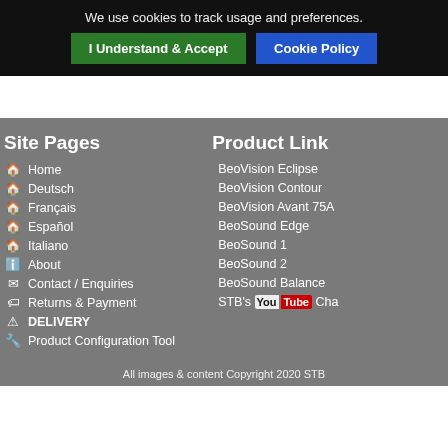We use cookies to track usage and preferences.
I Understand & Accept
Cookie Policy
Site Pages
Home
Deutsch
Français
Español
Italiano
About
Contact / Enquiries
Returns & Payment
DELIVERY
Product Configuration Tool
Product Link
BeoVision Eclipse
BeoVision Contour
BeoVision Avant 75A
BeoSound Edge
BeoSound 1
BeoSound 2
BeoSound Balance
STB's YouTube Cha
All images & content Copyright 2020 STB